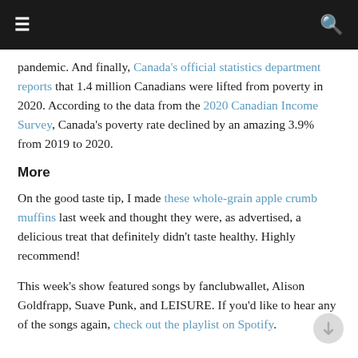≡  🔍
pandemic. And finally, Canada's official statistics department reports that 1.4 million Canadians were lifted from poverty in 2020. According to the data from the 2020 Canadian Income Survey, Canada's poverty rate declined by an amazing 3.9% from 2019 to 2020.
More
On the good taste tip, I made these whole-grain apple crumb muffins last week and thought they were, as advertised, a delicious treat that definitely didn't taste healthy. Highly recommend!
This week's show featured songs by fanclubwallet, Alison Goldfrapp, Suave Punk, and LEISURE. If you'd like to hear any of the songs again, check out the playlist on Spotify.